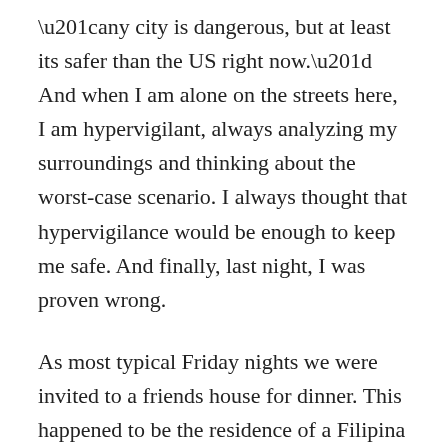“any city is dangerous, but at least its safer than the US right now.” And when I am alone on the streets here, I am hypervigilant, always analyzing my surroundings and thinking about the worst-case scenario. I always thought that hypervigilance would be enough to keep me safe. And finally, last night, I was proven wrong.
As most typical Friday nights we were invited to a friends house for dinner. This happened to be the residence of a Filipina doctor who always makes amazing food. This Friday was no exception. Joined by some of my closest friends here, we ate well and wished many people of the group a safe journey in the weeks to come. Judith is about to leave on vacation for a month, some visitors from the states were leaving the next day